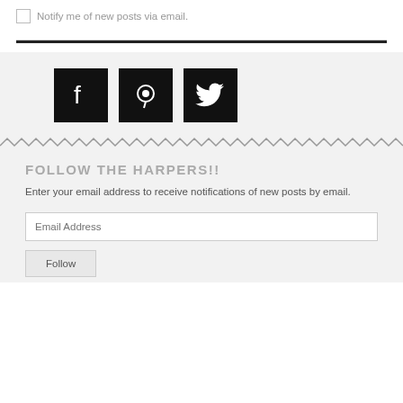Notify me of new posts via email.
[Figure (illustration): Three social media icon buttons (Facebook, Pinterest, Twitter) displayed as white icons on black square backgrounds]
FOLLOW THE HARPERS!!
Enter your email address to receive notifications of new posts by email.
Email Address
Follow